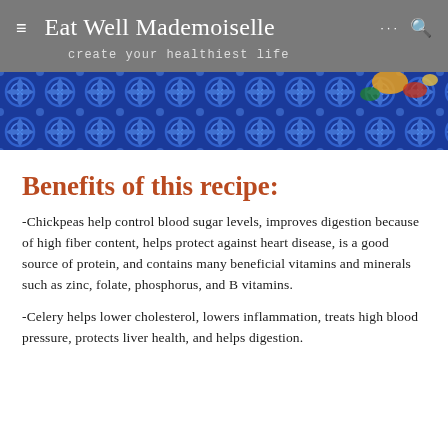Eat Well Mademoiselle
create your healthiest life
[Figure (photo): Decorative blue and white Moroccan tile pattern with colorful food items visible at top]
Benefits of this recipe:
-Chickpeas help control blood sugar levels, improves digestion because of high fiber content, helps protect against heart disease, is a good source of protein, and contains many beneficial vitamins and minerals such as zinc, folate, phosphorus, and B vitamins.
-Celery helps lower cholesterol, lowers inflammation, treats high blood pressure, protects liver health, and helps digestion.